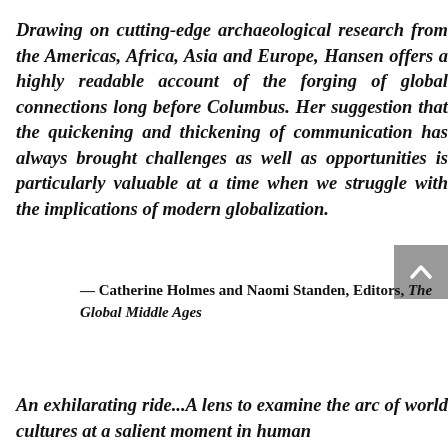Drawing on cutting-edge archaeological research from the Americas, Africa, Asia and Europe, Hansen offers a highly readable account of the forging of global connections long before Columbus. Her suggestion that the quickening and thickening of communication has always brought challenges as well as opportunities is particularly valuable at a time when we struggle with the implications of modern globalization.
— Catherine Holmes and Naomi Standen, Editors, The Global Middle Ages
An exhilarating ride...A lens to examine the arc of world cultures at a salient moment in human